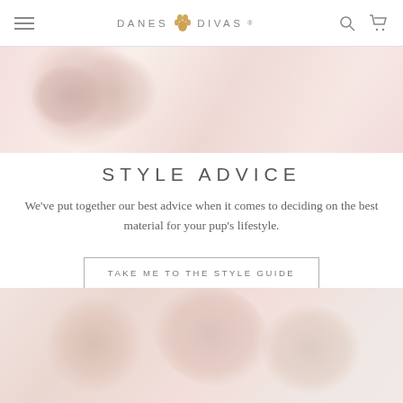DANES DIVAS
[Figure (photo): Blurry close-up photo of a dog or puppy against a soft pink background]
STYLE ADVICE
We've put together our best advice when it comes to deciding on the best material for your pup's lifestyle.
TAKE ME TO THE STYLE GUIDE
[Figure (photo): Soft blurry photo with warm pink tones showing dogs or puppies]